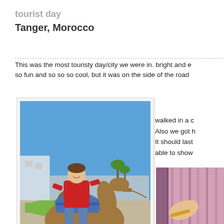tourist day
Tanger, Morocco
This was the most touristy day/city we were in. bright and e so fun and so so so cool, but it was on the side of the road walked in a c Also we got h It should last able to show
[Figure (photo): Person in red shirt riding a camel outdoors in Tanger, Morocco, with blue sky and palm trees in background]
[Figure (photo): Close-up of pink/purple fabric or scarves, possibly in a market]